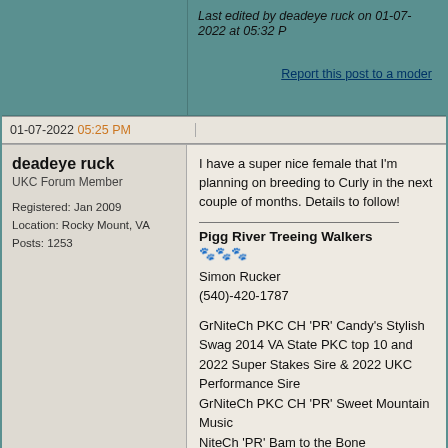Last edited by deadeye ruck on 01-07-2022 at 05:32 P
Report this post to a moder
01-07-2022 05:25 PM
deadeye ruck
UKC Forum Member
Registered: Jan 2009
Location: Rocky Mount, VA
Posts: 1253
I have a super nice female that I'm planning on breeding to Curly in the next couple of months. Details to follow!

Pigg River Treeing Walkers

Simon Rucker
(540)-420-1787

GrNiteCh PKC CH 'PR' Candy's Stylish Swag 2014 VA State PKC top 10 and 2022 Super Stakes Sire & 2022 UKC Performance Sire
GrNiteCh PKC CH 'PR' Sweet Mountain Music
NiteCh 'PR' Bam to the Bone
'PR' Wipeout's Cover Girl
'PR' Stylish Poison Pickles

Report this post to a moderator | IP: Logged
03-28-2022 02:24 AM